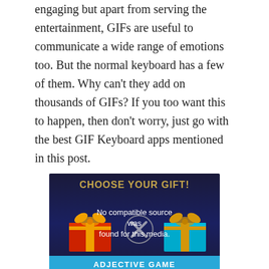engaging but apart from serving the entertainment, GIFs are useful to communicate a wide range of emotions too. But the normal keyboard has a few of them. Why can't they add on thousands of GIFs? If you too want this to happen, then don't worry, just go with the best GIF Keyboard apps mentioned in this post.
[Figure (other): Video player placeholder showing 'CHOOSE YOUR GIFT!' text at top in gold, two gift boxes (red on left, teal/cyan on right), an X symbol in the center, and a blue banner at bottom reading 'ADJECTIVE GAME'. Center text reads 'No compatible source was found for this media.']
Choose Your Gift - Adjectives
A study published by Statista reports that 28 percent of internet users from the US (mostly between the 18-24 age